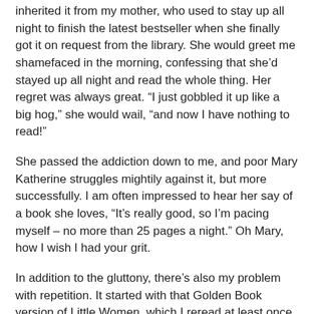inherited it from my mother, who used to stay up all night to finish the latest bestseller when she finally got it on request from the library. She would greet me shamefaced in the morning, confessing that she'd stayed up all night and read the whole thing. Her regret was always great. “I just gobbled it up like a big hog,” she would wail, “and now I have nothing to read!”
She passed the addiction down to me, and poor Mary Katherine struggles mightily against it, but more successfully. I am often impressed to hear her say of a book she loves, “It’s really good, so I’m pacing myself – no more than 25 pages a night.” Oh Mary, how I wish I had your grit.
In addition to the gluttony, there’s also my problem with repetition. It started with that Golden Book version of Little Women, which I reread at least once a year, letting myself sob good and hard when (spoiler alert) Beth died.
According to Google’s advanced algorithms, there are currently nearly 130 million books in the world (129,864,880, to be exact), and there are more than 300,000 new titles